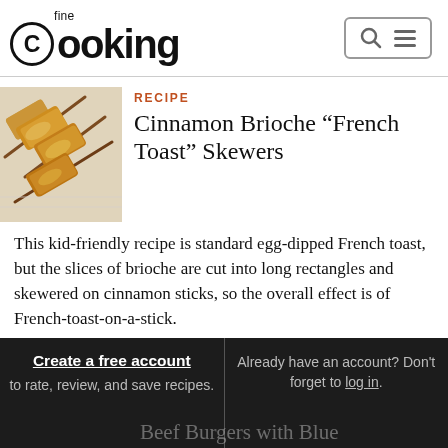fine Cooking
[Figure (photo): Photo of cinnamon brioche French toast skewers on a rack, showing golden-brown rectangular pieces threaded on sticks]
RECIPE
Cinnamon Brioche "French Toast" Skewers
This kid-friendly recipe is standard egg-dipped French toast, but the slices of brioche are cut into long rectangles and skewered on cinnamon sticks, so the overall effect is of French-toast-on-a-stick.
Create a free account to rate, review, and save recipes.
Already have an account? Don't forget to log in.
Beef Burgers with Blue